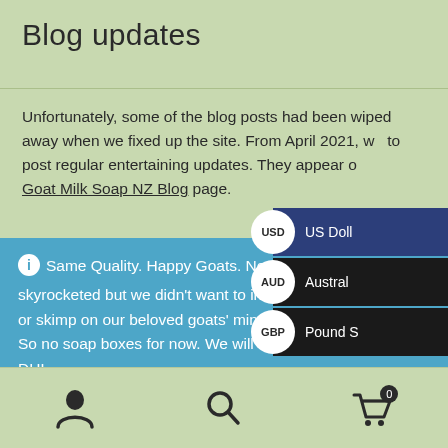Blog updates
Unfortunately, some of the blog posts had been wiped away when we fixed up the site. From April 2021, we to post regular entertaining updates. They appear on the Goat Milk Soap NZ Blog page.
ℹ Same Quality. Happy Goats. No Boxes!! - Our costs skyrocketed but we didn't want to increase our soap prices or skimp on our beloved goats' mineral supplementation. So no soap boxes for now. We will send naked soap by DHL. Thank you for your understanding. Dismiss
[Figure (screenshot): Currency selector dropdown overlay showing USD (US Dollar), AUD (Australian Dollar), and GBP (Pound Sterling) options]
Navigation bar with user icon, search icon, and cart icon showing 0 items